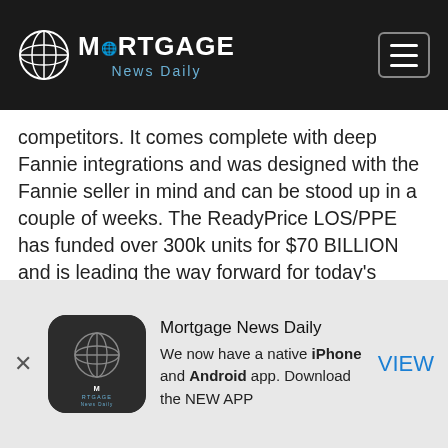Mortgage News Daily
competitors. It comes complete with deep Fannie integrations and was designed with the Fannie seller in mind and can be stood up in a couple of weeks. The ReadyPrice LOS/PPE has funded over 300k units for $70 BILLION and is leading the way forward for today's mortgage bankers as we "utilitize" essential mortgage tech. Call us at (408) 357–0931 or email hello@readyprice.com to get a free demo and see how we can help your RETAIL and WHOLESALE channels.
[Figure (infographic): Mortgage News Daily app banner with globe logo icon, text promoting native iPhone and Android app, and VIEW button]